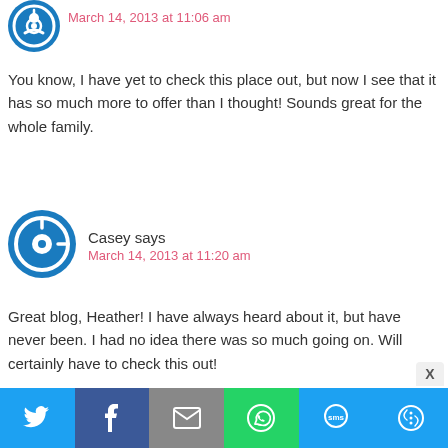March 14, 2013 at 11:06 am
You know, I have yet to check this place out, but now I see that it has so much more to offer than I thought! Sounds great for the whole family.
Casey says
March 14, 2013 at 11:20 am
Great blog, Heather! I have always heard about it, but have never been. I had no idea there was so much going on. Will certainly have to check this out!